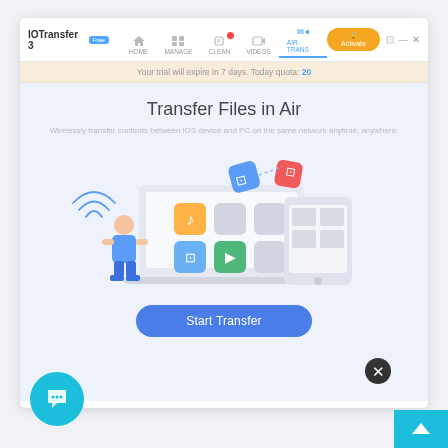[Figure (screenshot): IOTransfer 3 application window showing the AIR-TRANS tab with 'Transfer Files in Air' screen. Navigation bar includes HOME, MANAGE, CLEAN, VIDEOS, AIR-TRANS tabs. An orange Activate button is in the top right. A trial expiry banner reads 'Your trial will expire in 7 days. Today quota: 20'. The main area has a title 'Transfer Files in Air', subtitle about wireless transfer, an illustration of a person using a laptop and phone wirelessly, and a blue 'Start Transfer' button.]
[Figure (illustration): Chat support bubble icon (teal circle with chat/dots icon) at bottom left of the page outside the app window.]
[Figure (illustration): Black circle with X (close button) near bottom right outside the app window.]
[Figure (illustration): Teal rectangle with upward arrow at very bottom right corner of the page.]